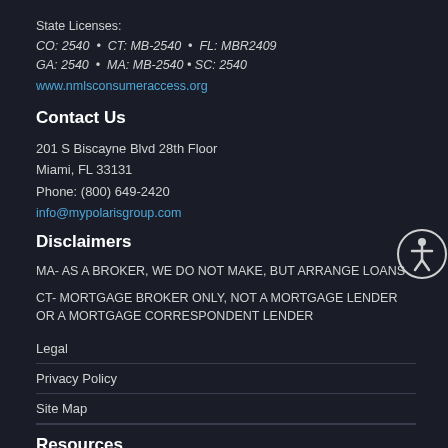State Licenses:
CO: 2540 • CT: MB-2540 • FL: MBR2409
GA: 2540 • MA: MB-2540 • SC: 2540
www.nmlsconsumeraccess.org
Contact Us
201 S Biscayne Blvd 28th Floor
Miami, FL 33131
Phone: (800) 649-2420
info@mypolarisgroup.com
Disclaimers
MA- AS A BROKER, WE DO NOT MAKE, BUT ARRANGE LOANS
CT- MORTGAGE BROKER ONLY, NOT A MORTGAGE LENDER OR A MORTGAGE CORRESPONDENT LENDER
Legal
Privacy Policy
Site Map
Resources